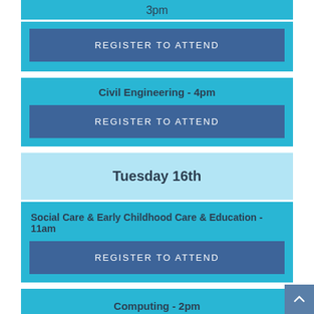3pm
REGISTER TO ATTEND
Civil Engineering - 4pm
REGISTER TO ATTEND
Tuesday 16th
Social Care & Early Childhood Care & Education - 11am
REGISTER TO ATTEND
Computing - 2pm